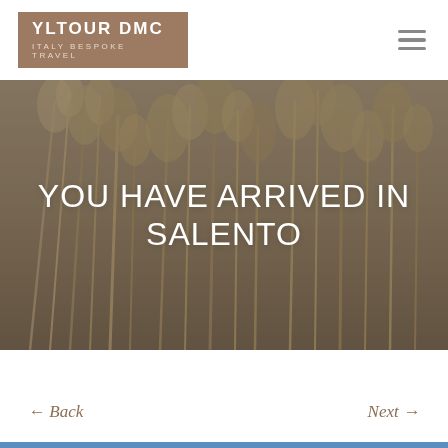[Figure (logo): YLTOUR DMC Italy Bespoke Travel logo on brown/taupe background]
[Figure (photo): Background hero photo of dried pampas grass/wheat stalks in muted brown and grey tones]
YOU HAVE ARRIVED IN SALENTO
← Back
Next →